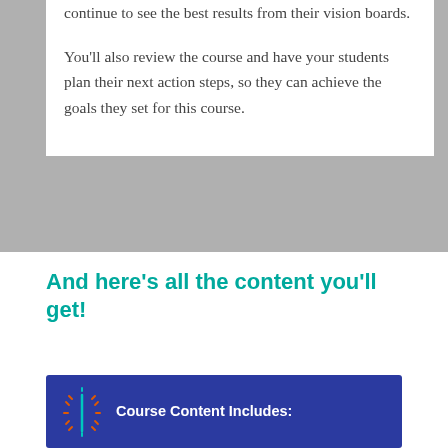continue to see the best results from their vision boards.
You'll also review the course and have your students plan their next action steps, so they can achieve the goals they set for this course.
And here's all the content you'll get!
[Figure (infographic): Dark blue banner with a sunburst/sparkle icon on the left and white bold text reading 'Course Content Includes:']